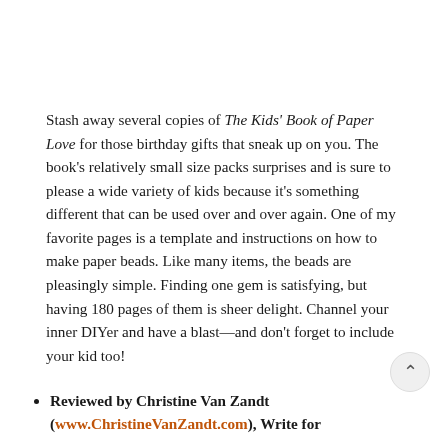Stash away several copies of The Kids' Book of Paper Love for those birthday gifts that sneak up on you. The book's relatively small size packs surprises and is sure to please a wide variety of kids because it's something different that can be used over and over again. One of my favorite pages is a template and instructions on how to make paper beads. Like many items, the beads are pleasingly simple. Finding one gem is satisfying, but having 180 pages of them is sheer delight. Channel your inner DIYer and have a blast—and don't forget to include your kid too!
Reviewed by Christine Van Zandt (www.ChristineVanZandt.com), Write for